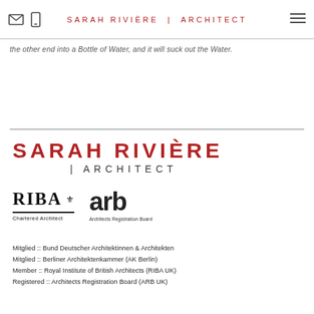SARAH RIVIÈRE | ARCHITECT
the other end into a Bottle of Water, and it will suck out the Water.
SARAH RIVIÈRE | ARCHITECT
[Figure (logo): RIBA Chartered Architect logo and ARB Architects Registration Board logo side by side]
Mitglied :: Bund Deutscher Architektinnen & Architekten
Mitglied :: Berliner Architektenkammer (AK Berlin)
Member :: Royal Institute of British Architects (RIBA UK)
Registered :: Architects Registration Board (ARB UK)